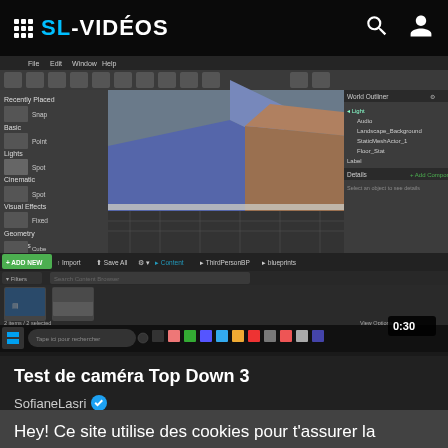SL-VIDÉOS
[Figure (screenshot): Screenshot of Unreal Engine editor with 3D viewport showing colored boxes (blue and brown), left panel with scene categories, right panel with world outliner, content browser at bottom, and Windows taskbar.]
Test de caméra Top Down 3
SofianeLasri ✓
Hey! Ce site utilise des cookies pour t'assurer la meilleure expérience possible. :D En savoir plus
C'est ok!
[Figure (other): Bottom banner with text LAPINS in yellow italic bold letters]